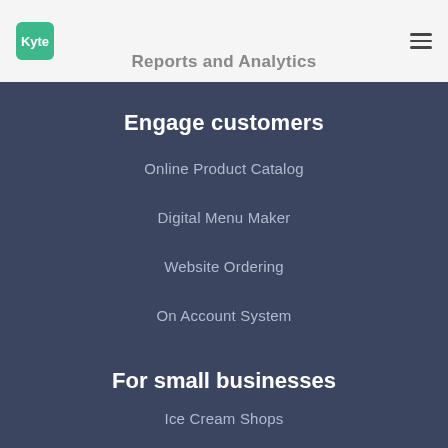[Figure (logo): Kyte green logo square with rounded corners]
Reports and Analytics
Engage customers
Online Product Catalog
Digital Menu Maker
Website Ordering
On Account System
For small businesses
Ice Cream Shops